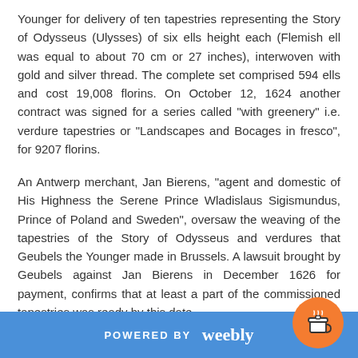Younger for delivery of ten tapestries representing the Story of Odysseus (Ulysses) of six ells height each (Flemish ell was equal to about 70 cm or 27 inches), interwoven with gold and silver thread. The complete set comprised 594 ells and cost 19,008 florins. On October 12, 1624 another contract was signed for a series called "with greenery" i.e. verdure tapestries or "Landscapes and Bocages in fresco", for 9207 florins.
An Antwerp merchant, Jan Bierens, "agent and domestic of His Highness the Serene Prince Wladislaus Sigismundus, Prince of Poland and Sweden", oversaw the weaving of the tapestries of the Story of Odysseus and verdures that Geubels the Younger made in Brussels. A lawsuit brought by Geubels against Jan Bierens in December 1626 for payment, confirms that at least a part of the commissioned tapestries was ready by this date.
Notations in the archives reveal the existence
POWERED BY weebly